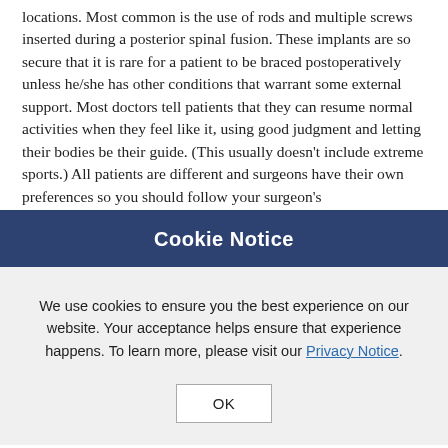locations. Most common is the use of rods and multiple screws inserted during a posterior spinal fusion. These implants are so secure that it is rare for a patient to be braced postoperatively unless he/she has other conditions that warrant some external support. Most doctors tell patients that they can resume normal activities when they feel like it, using good judgment and letting their bodies be their guide. (This usually doesn't include extreme sports.) All patients are different and surgeons have their own preferences so you should follow your surgeon's recommendations and postoperative protocols.
In the mid to late 1990s and early 2000s, the average length
Cookie Notice
We use cookies to ensure you the best experience on our website. Your acceptance helps ensure that experience happens. To learn more, please visit our Privacy Notice.